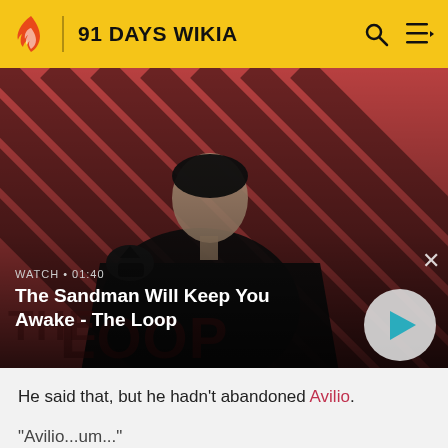91 DAYS WIKIA
[Figure (screenshot): Video thumbnail showing a dark-cloaked figure with a crow on their shoulder against a red and dark diagonal striped background. Overlay shows 'WATCH • 01:40' and title 'The Sandman Will Keep You Awake - The Loop' with a play button.]
He said that, but he hadn't abandoned Avilio.
"Avilio...um..."